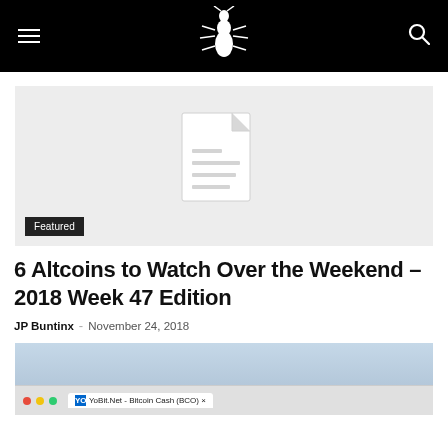Cryptocurrency News Website Header with logo and navigation
[Figure (screenshot): Featured article placeholder image with document icon and light grey background. Featured badge overlay in bottom left.]
6 Altcoins to Watch Over the Weekend – 2018 Week 47 Edition
JP Buntinx · November 24, 2018
[Figure (screenshot): Screenshot of YoBit.Net - Bitcoin Cash (BCO) browser tab on a Mac, showing traffic light window controls (red, yellow, green dots) and tab bar]